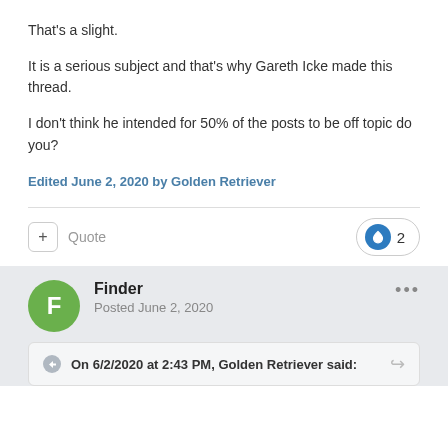That's a slight.
It is a serious subject and that's why Gareth Icke made this thread.
I don't think he intended for 50% of the posts to be off topic do you?
Edited June 2, 2020 by Golden Retriever
Quote
2
Finder
Posted June 2, 2020
On 6/2/2020 at 2:43 PM, Golden Retriever said: